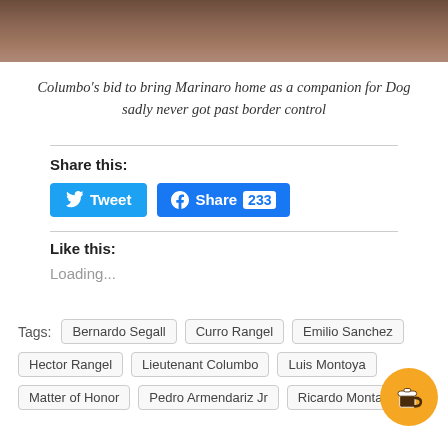[Figure (photo): Top portion of a photo showing a person and reddish-brown rocky/earthy background, cropped at the top of the page]
Columbo's bid to bring Marinaro home as a companion for Dog sadly never got past border control
Share this:
Tweet  Share 233
Like this:
Loading...
Tags: Bernardo Segall  Curro Rangel  Emilio Sanchez  Hector Rangel  Lieutenant Columbo  Luis Montoya  Matter of Honor  Pedro Armendariz Jr  Ricardo Montalban